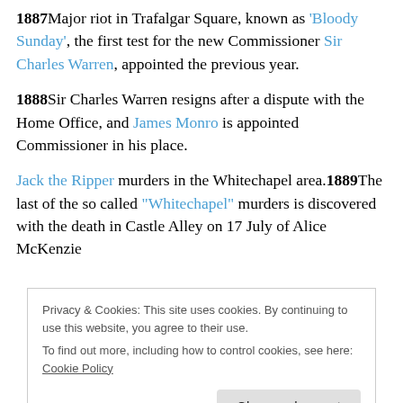1887 Major riot in Trafalgar Square, known as 'Bloody Sunday', the first test for the new Commissioner Sir Charles Warren, appointed the previous year.
1888 Sir Charles Warren resigns after a dispute with the Home Office, and James Monro is appointed Commissioner in his place.
Jack the Ripper murders in the Whitechapel area. 1889 The last of the so called "Whitechapel" murders is discovered with the death in Castle Alley on 17 July of Alice McKenzie
Privacy & Cookies: This site uses cookies. By continuing to use this website, you agree to their use.
To find out more, including how to control cookies, see here: Cookie Policy
[Close and accept]